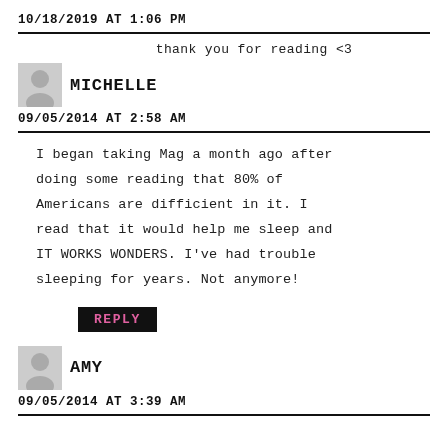10/18/2019 AT 1:06 PM
thank you for reading <3
MICHELLE
09/05/2014 AT 2:58 AM
I began taking Mag a month ago after doing some reading that 80% of Americans are difficient in it. I read that it would help me sleep and IT WORKS WONDERS. I've had trouble sleeping for years. Not anymore!
REPLY
AMY
09/05/2014 AT 3:39 AM